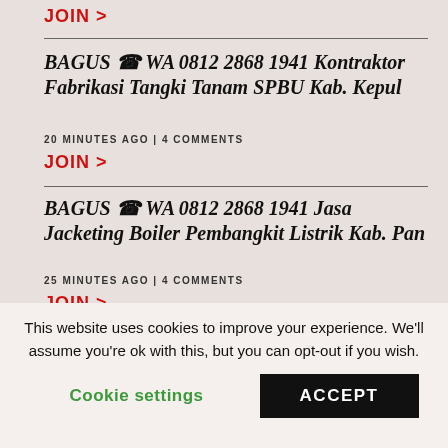JOIN >
BAGUS ☎ WA 0812 2868 1941 Kontraktor Fabrikasi Tangki Tanam SPBU Kab. Kepul
20 MINUTES AGO | 4 COMMENTS
JOIN >
BAGUS ☎ WA 0812 2868 1941 Jasa Jacketing Boiler Pembangkit Listrik Kab. Pan
25 MINUTES AGO | 4 COMMENTS
JOIN >
☎ WA 0812 2868 1941 Harga Tangki Air Panel Fiber Kab. Hulu Sungai Selatan
This website uses cookies to improve your experience. We'll assume you're ok with this, but you can opt-out if you wish.
Cookie settings   ACCEPT